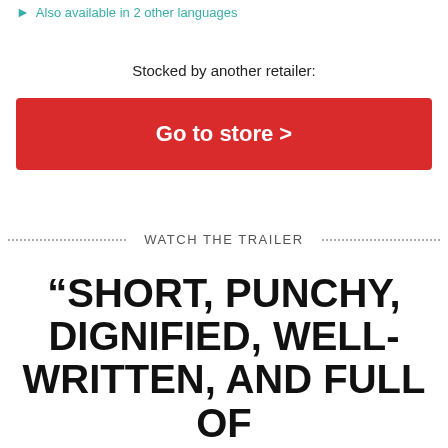Also available in 2 other languages
Stocked by another retailer:
Go to store >
WATCH THE TRAILER
“SHORT, PUNCHY, DIGNIFIED, WELL-WRITTEN, AND FULL OF SILLY BUT INTERESTING